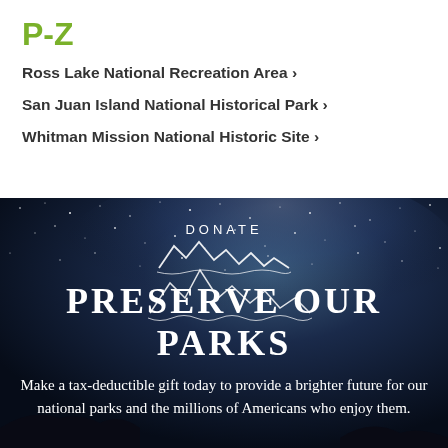P-Z
Ross Lake National Recreation Area ›
San Juan Island National Historical Park ›
Whitman Mission National Historic Site ›
[Figure (photo): Night sky with stars and Milky Way background with mountain silhouette outline illustration. Text overlaid reads 'DONATE' and 'PRESERVE OUR PARKS'.]
Make a tax-deductible gift today to provide a brighter future for our national parks and the millions of Americans who enjoy them.